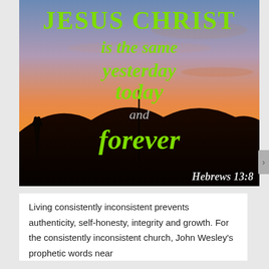[Figure (photo): Sunset/sunrise landscape photo with silhouetted hills and trees, overlaid with Bible verse text. Text reads 'JESUS CHRIST is the same yesterday today and forever Hebrews 13:8' in green and grey italic serif font.]
Living consistently inconsistent prevents authenticity, self-honesty, integrity and growth. For the consistently inconsistent church, John Wesley's prophetic words near